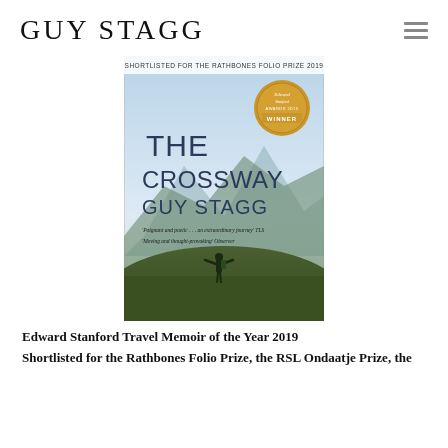GUY STAGG
[Figure (illustration): Book cover of 'The Crossway' by Guy Stagg. Top banner reads 'SHORTLISTED FOR THE RATHBONES FOLIO PRIZE 2019'. A gold circular badge reads 'Edward Stanford Awards 2019 WINNER'. Large text on the cover says 'THE CROSSWAY GUY STAGG'. Quotes: 'Poignant and poetic... an extraordinary journey' TLS and 'Moving and thought-provoking' Observer. Background shows a mountain landscape with a hiker standing with arms outstretched.]
Edward Stanford Travel Memoir of the Year 2019
Shortlisted for the Rathbones Folio Prize, the RSL Ondaatje Prize, the